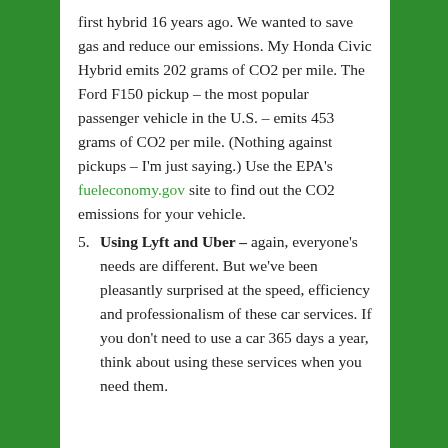first hybrid 16 years ago. We wanted to save gas and reduce our emissions. My Honda Civic Hybrid emits 202 grams of CO2 per mile. The Ford F150 pickup – the most popular passenger vehicle in the U.S. – emits 453 grams of CO2 per mile. (Nothing against pickups – I'm just saying.) Use the EPA's fueleconomy.gov site to find out the CO2 emissions for your vehicle.
Using Lyft and Uber – again, everyone's needs are different. But we've been pleasantly surprised at the speed, efficiency and professionalism of these car services. If you don't need to use a car 365 days a year, think about using these services when you need them.